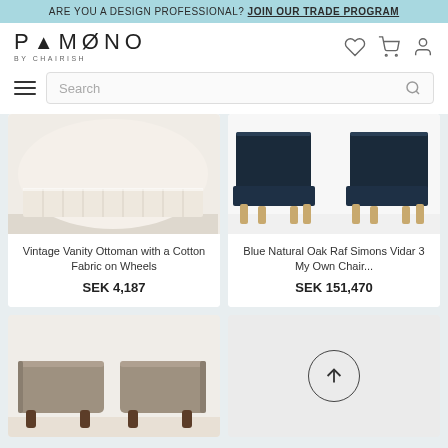ARE YOU A DESIGN PROFESSIONAL? JOIN OUR TRADE PROGRAM
[Figure (screenshot): Pamono by Chairish logo with navigation icons (heart, cart, user)]
Search
[Figure (photo): Vintage Vanity Ottoman with a Cotton Fabric on Wheels - product image showing bottom hem of white fabric ottoman]
Vintage Vanity Ottoman with a Cotton Fabric on Wheels
SEK 4,187
[Figure (photo): Blue Natural Oak Raf Simons Vidar 3 My Own Chair - product image showing two dark navy chairs with natural wood legs]
Blue Natural Oak Raf Simons Vidar 3 My Own Chair...
SEK 151,470
[Figure (photo): Two grey-brown upholstered footstools/ottomans with dark walnut legs]
[Figure (other): Scroll to top button (circle with upward arrow) on grey background]